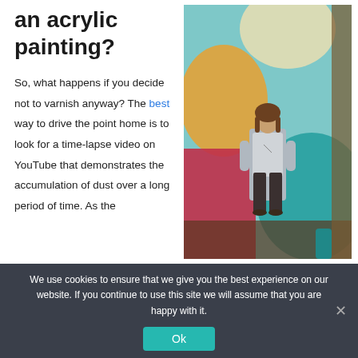an acrylic painting?
So, what happens if you decide not to varnish anyway? The best way to drive the point home is to look for a time-lapse video on YouTube that demonstrates the accumulation of dust over a long period of time. As the
[Figure (photo): A person with long hair standing in front of a large colorful mural painting with teal, orange, red and yellow tones, looking upward.]
We use cookies to ensure that we give you the best experience on our website. If you continue to use this site we will assume that you are happy with it.